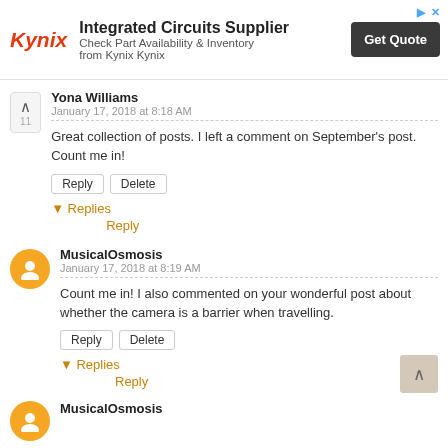[Figure (other): Kynix Integrated Circuits Supplier advertisement banner with logo, text, and Get Quote button]
Yona Williams
January 17, 2018 at 8:18 AM
Great collection of posts. I left a comment on September's post. Count me in!
Reply   Delete
▼ Replies
Reply
MusicalOsmosis
January 17, 2018 at 8:19 AM
Count me in! I also commented on your wonderful post about whether the camera is a barrier when travelling.
Reply   Delete
▼ Replies
Reply
MusicalOsmosis